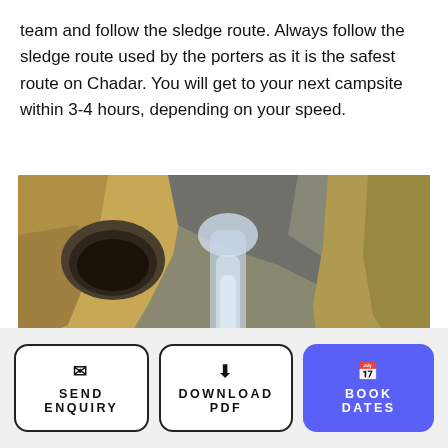team and follow the sledge route. Always follow the sledge route used by the porters as it is the safest route on Chadar. You will get to your next campsite within 3-4 hours, depending on your speed.
[Figure (photo): Photograph of a frozen waterfall flowing over rocky canyon walls, with yellowed limestone cliffs, a dark cave hollow on the left, and ice formations cascading over dark rocks in the center.]
SEND ENQUIRY
DOWNLOAD PDF
BOOK DATES